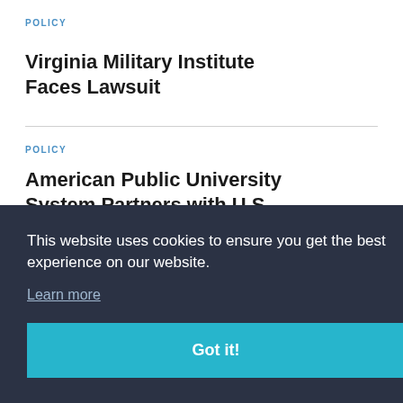POLICY
Virginia Military Institute Faces Lawsuit
POLICY
American Public University System Partners with U.S.
This website uses cookies to ensure you get the best experience on our website.
Learn more
Got it!
Princeton University